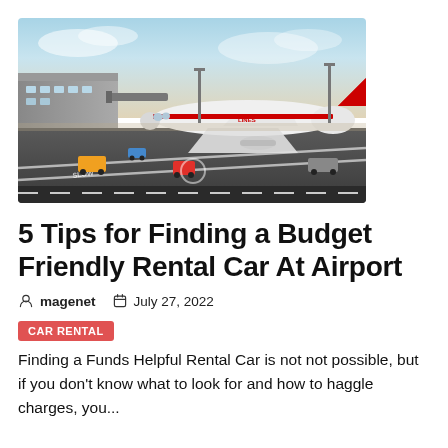[Figure (photo): Aerial view of an airport tarmac showing a large passenger jet (Singapore Airlines A380) parked at a gate, with ground vehicles, service trucks, and airport roads visible. Overcast sky in background.]
5 Tips for Finding a Budget Friendly Rental Car At Airport
magenet   July 27, 2022
CAR RENTAL
Finding a Funds Helpful Rental Car is not not possible, but if you don't know what to look for and how to haggle charges, you...